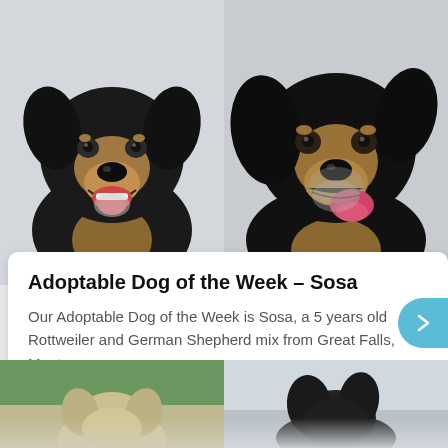[Figure (photo): Two side-by-side photos of Sosa, a Rottweiler and German Shepherd mix. Left photo shows the dog facing forward with mouth open and smiling. Right photo shows the dog with tongue out licking its lips. Both dogs are black and tan on a light background.]
Adoptable Dog of the Week – Sosa
Our Adoptable Dog of the Week is Sosa, a 5 years old Rottweiler and German Shepherd mix from Great Falls, Montana.
[Figure (photo): Bottom strip showing two partially visible photos side by side. Left shows a dog outdoors with green trees in background. Right shows a dog in a lighter outdoor setting.]